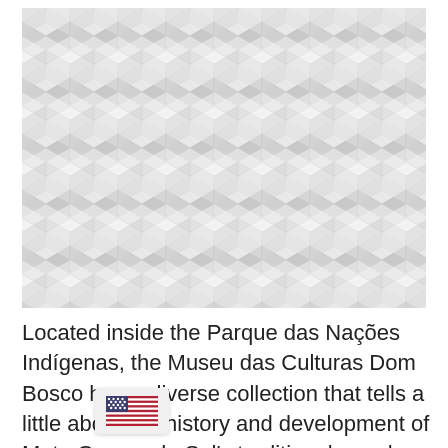[Figure (illustration): A geometric pattern made of repeating triangular/diamond shapes in light gray and white, forming a 3D-like tessellation texture filling the entire image area.]
Located inside the Parque das Nações Indígenas, the Museu das Culturas Dom Bosco has a diverse collection that tells a little about the history and development of Mato Grosso do Sul's traditional peoples.